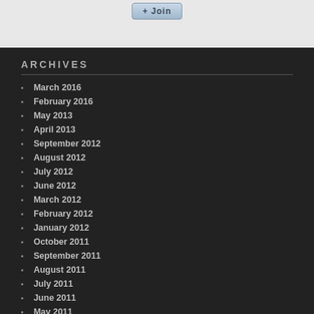ARCHIVES
March 2016
February 2016
May 2013
April 2013
September 2012
August 2012
July 2012
June 2012
March 2012
February 2012
January 2012
October 2011
September 2011
August 2011
July 2011
June 2011
May 2011